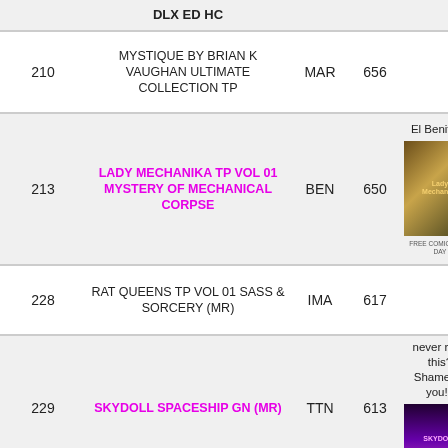| # | Title | Publisher | Score | Notes |
| --- | --- | --- | --- | --- |
|  | DLX ED HC |  |  |  |
| 210 | MYSTIQUE BY BRIAN K VAUGHAN ULTIMATE COLLECTION TP | MAR | 656 |  |
| 213 | LADY MECHANIKA TP VOL 01 MYSTERY OF MECHANICAL CORPSE | BEN | 650 | El Benitez!! |
| 228 | RAT QUEENS TP VOL 01 SASS & SORCERY (MR) | IMA | 617 |  |
| 229 | SKYDOLL SPACESHIP GN (MR) | TTN | 613 | never read this? Shame on you!!! |